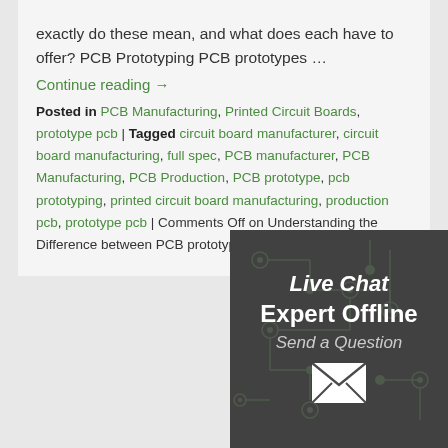exactly do these mean, and what does each have to offer? PCB Prototyping PCB prototypes …
Continue reading →
Posted in PCB Manufacturing, Printed Circuit Boards, prototype pcb | Tagged circuit board manufacturer, circuit board manufacturing, full spec, PCB manufacturer, PCB Manufacturing, PCB Production, PCB prototype, pcb prototyping, printed circuit board manufacturing, production pcb, prototype pcb | Comments Off on Understanding the Difference between PCB prototyping and Full Spec Production
Printed Circuit Board D… Is Never One Size Fits …
Posted on December 16, 2015 by
[Figure (infographic): Live Chat Expert Offline Send a Question overlay with dark background showing circuit board pattern, white bold text and email envelope icon]